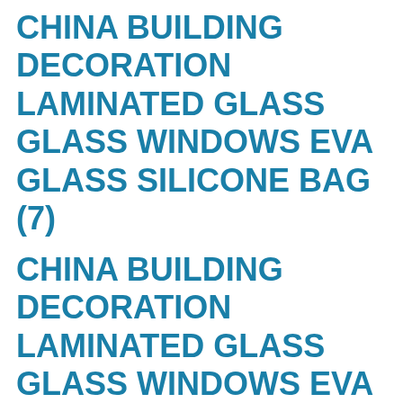CHINA BUILDING DECORATION LAMINATED GLASS GLASS WINDOWS EVA GLASS SILICONE BAG (7)
CHINA BUILDING DECORATION LAMINATED GLASS GLASS WINDOWS EVA GLASS SILICONE BAG (7)
CHINA BUILDING DECORATION LAMINATED GLASS GLASS WINDOWS EVA GLASS SILICONE BAG (7)
CHINA BUILDING DECORATION LAMINATED GLASS GLASS WINDOWS EVA GLASS SILICONE BAG (7)